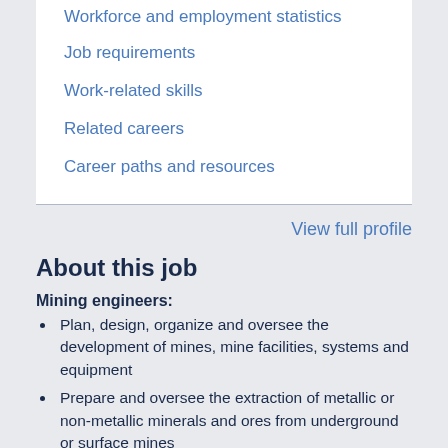Workforce and employment statistics
Job requirements
Work-related skills
Related careers
Career paths and resources
View full profile
About this job
Mining engineers:
Plan, design, organize and oversee the development of mines, mine facilities, systems and equipment
Prepare and oversee the extraction of metallic or non-metallic minerals and ores from underground or surface mines
Work for mining companies, consulting engineering